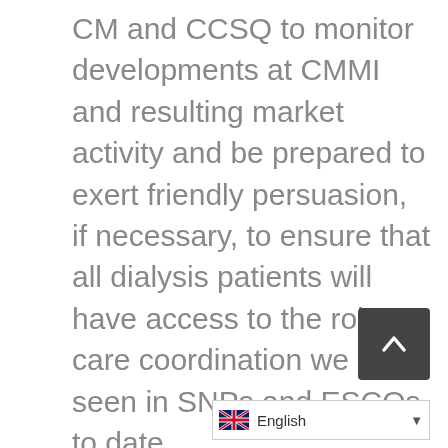CM and CCSQ to monitor developments at CMMI and resulting market activity and be prepared to exert friendly persuasion, if necessary, to ensure that all dialysis patients will have access to the robust care coordination we have seen in SNPs and ESCOs to date.
Thank you for your consideration of our comments and concerns.  If you have any questions or would like additional information, please do not hesitate to contact me or our Government Affairs Director, Jackson Williams.